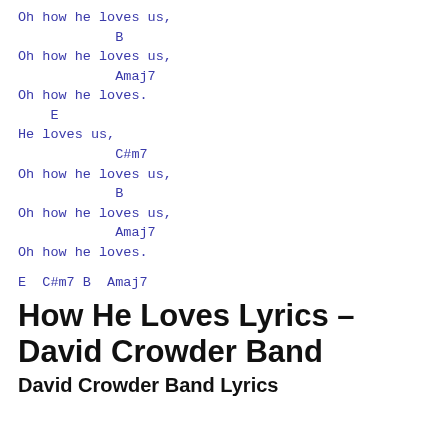Oh how he loves us,
            B
Oh how he loves us,
            Amaj7
Oh how he loves.
    E
He loves us,
            C#m7
Oh how he loves us,
            B
Oh how he loves us,
            Amaj7
Oh how he loves.
E  C#m7 B  Amaj7
How He Loves Lyrics – David Crowder Band
David Crowder Band Lyrics